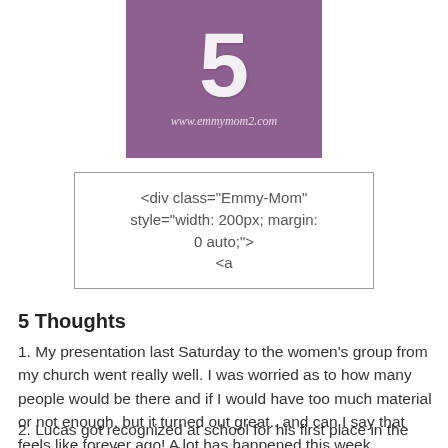[Figure (illustration): Purple/violet square badge with large white number 5 and text 'www.emmymom2.com' at the bottom]
<div class="Emmy-Mom" style="width: 200px; margin: 0 auto;"> <a
5 Thoughts
1. My presentation last Saturday to the women's group from my church went really well.  I was worried as to how many people would be there and if I would have too much material or not enough, but it turned out great.. and can I say that feels like forever ago!  A lot has happened this week.
2. Lucas got recognized at school for his first place in the entire District for his Science Fair, very proud parent